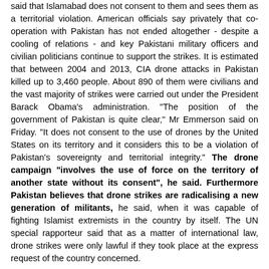said that Islamabad does not consent to them and sees them as a territorial violation. American officials say privately that co-operation with Pakistan has not ended altogether - despite a cooling of relations - and key Pakistani military officers and civilian politicians continue to support the strikes. It is estimated that between 2004 and 2013, CIA drone attacks in Pakistan killed up to 3,460 people. About 890 of them were civilians and the vast majority of strikes were carried out under the President Barack Obama's administration. "The position of the government of Pakistan is quite clear," Mr Emmerson said on Friday. "It does not consent to the use of drones by the United States on its territory and it considers this to be a violation of Pakistan's sovereignty and territorial integrity." The drone campaign "involves the use of force on the territory of another state without its consent", he said. Furthermore Pakistan believes that drone strikes are radicalising a new generation of militants, he said, when it was capable of fighting Islamist extremists in the country by itself. The UN special rapporteur said that as a matter of international law, drone strikes were only lawful if they took place at the express request of the country concerned.
Note: Why are these drone strikes allowed to continue when Pakistan clear opposes them and when there is not doubt many civilians are killed? For deeply revealing reports from reliable major media sources on government corruption, click here.